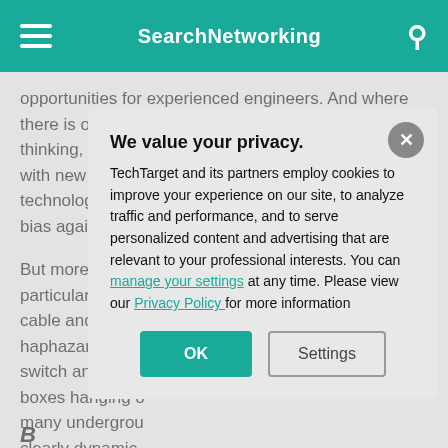SearchNetworking
opportunities for experienced engineers. And where there is opportunity, IT tends to reward independent thinking, discovery and a willingness to experiment with new technology. For that reason alone, technology like SDN has an advantage: There's no bias against it.
But more than th... particularly in la... cable and gear. ... haphazard. The... switch and rout... boxes hanging o... many undergrou... clearly dynamic.... countless loops ... new circuit requ...
We value your privacy. TechTarget and its partners employ cookies to improve your experience on our site, to analyze traffic and performance, and to serve personalized content and advertising that are relevant to your professional interests. You can manage your settings at any time. Please view our Privacy Policy for more information